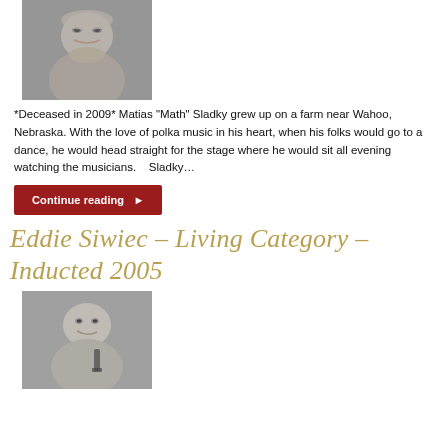[Figure (photo): Black and white portrait photo of an older man wearing glasses, in a dark jacket with white shirt.]
*Deceased in 2009* Matias "Math" Sladky grew up on a farm near Wahoo, Nebraska. With the love of polka music in his heart, when his folks would go to a dance, he would head straight for the stage where he would sit all evening watching the musicians.   Sladky…
Continue reading ▶
Eddie Siwiec – Living Category – Inducted 2005
[Figure (photo): Black and white portrait photo of a younger man smiling, holding what appears to be a clarinet.]